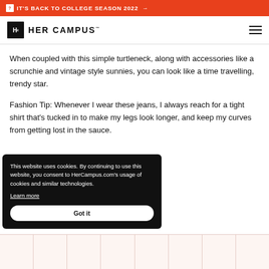IT'S BACK TO COLLEGE SEASON 2022 →
HER CAMPUS
When coupled with this simple turtleneck, along with accessories like a scrunchie and vintage style sunnies, you can look like a time travelling, trendy star.
Fashion Tip: Whenever I wear these jeans, I always reach for a tight shirt that's tucked in to make my legs look longer, and keep my curves from getting lost in the sauce.
This website uses cookies. By continuing to use this website, you consent to HerCampus.com's usage of cookies and similar technologies. Learn more Got it